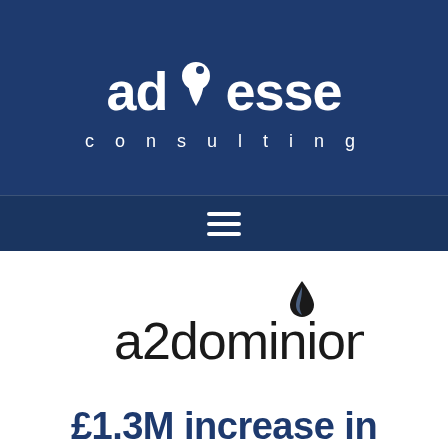[Figure (logo): Ad Esse Consulting logo — white text on dark navy blue background, with a stylized drop/leaf icon between 'ad' and 'esse', and 'consulting' in spaced letters below]
[Figure (logo): a2dominion logo — lowercase black text 'a2dominion' with a stylized dark flame/drop icon above the letter 'n']
£1.3M increase in productivity for A2